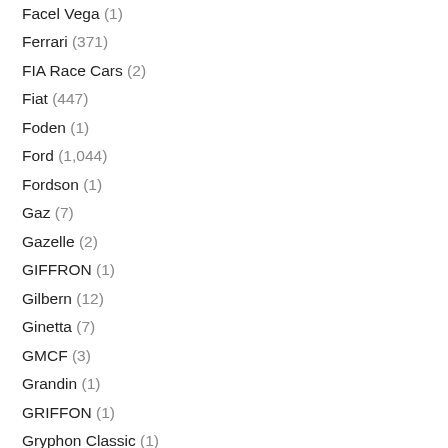Facel Vega (1)
Ferrari (371)
FIA Race Cars (2)
Fiat (447)
Foden (1)
Ford (1,044)
Fordson (1)
Gaz (7)
Gazelle (2)
GIFFRON (1)
Gilbern (12)
Ginetta (7)
GMCF (3)
Grandin (1)
GRIFFON (1)
Gryphon Classic (1)
GTM (1)
Healey (2)
Heinkel (2)